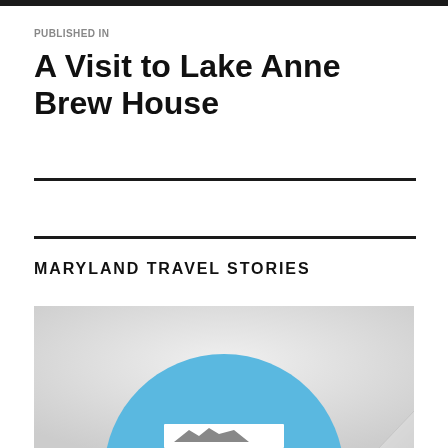PUBLISHED IN
A Visit to Lake Anne Brew House
MARYLAND TRAVEL STORIES
[Figure (illustration): Maryland Travel Stories logo: a large blue circle with a small white rectangular map/image of Maryland at the bottom center, on a light gray gradient background with a white curled page corner at bottom right.]